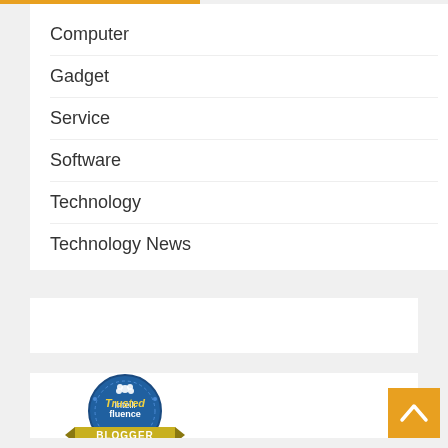Computer
Gadget
Service
Software
Technology
Technology News
[Figure (logo): Intellifluence Trusted Blogger badge - circular blue badge with yellow ribbon banner reading BLOGGER]
[Figure (other): Back to top button - golden/amber square with upward caret arrow]